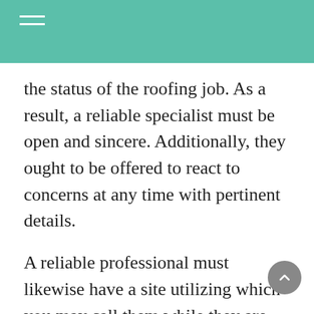the status of the roofing job. As a result, a reliable specialist must be open and sincere. Additionally, they ought to be offered to react to concerns at any time with pertinent details.
A reliable professional must likewise have a site utilizing which you may call them while they are not on the premises. Examine their action to previous customers and their feedback. Do they have favorable or undesirable customer service reviews? You will then be able to evaluate them.